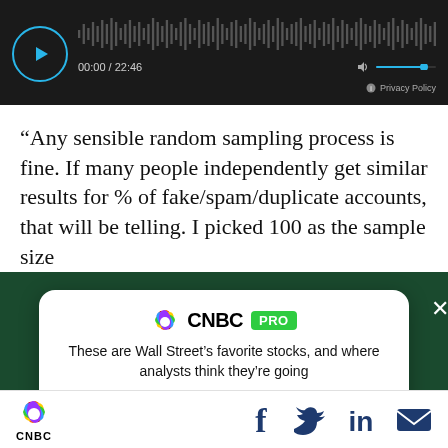[Figure (screenshot): Audio player with waveform, play button, time display 00:00 / 22:46, volume control, and Privacy Policy link on dark background]
“Any sensible random sampling process is fine. If many people independently get similar results for % of fake/spam/duplicate accounts, that will be telling. I picked 100 as the sample size
[Figure (screenshot): CNBC PRO advertisement overlay on dark green background. White card with CNBC logo and PRO badge, headline: 'These are Wall Street’s favorite stocks, and where analysts think they’re going', SUBSCRIBE NOW green button, and X close button]
CNBC logo, Facebook, Twitter, LinkedIn, Email social share icons